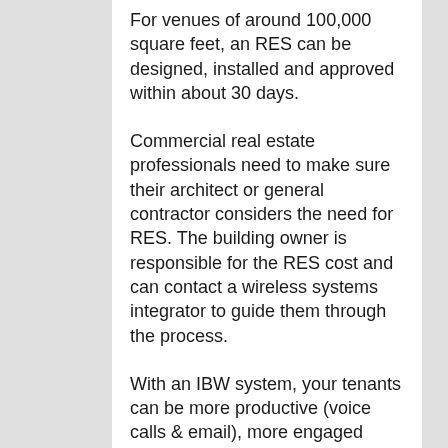For venues of around 100,000 square feet, an RES can be designed, installed and approved within about 30 days.
Commercial real estate professionals need to make sure their architect or general contractor considers the need for RES. The building owner is responsible for the RES cost and can contact a wireless systems integrator to guide them through the process.
With an IBW system, your tenants can be more productive (voice calls & email), more engaged (video collaboration & instant messaging), more efficient (building